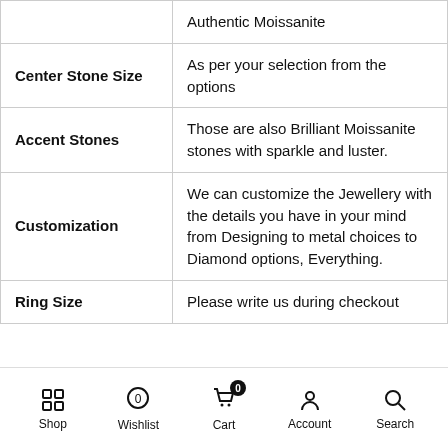| Property | Value |
| --- | --- |
|  | Authentic Moissanite |
| Center Stone Size | As per your selection from the options |
| Accent Stones | Those are also Brilliant Moissanite stones with sparkle and luster. |
| Customization | We can customize the Jewellery with the details you have in your mind from Designing to metal choices to Diamond options, Everything. |
| Ring Size | Please write us during checkout |
Shop  Wishlist  Cart  Account  Search